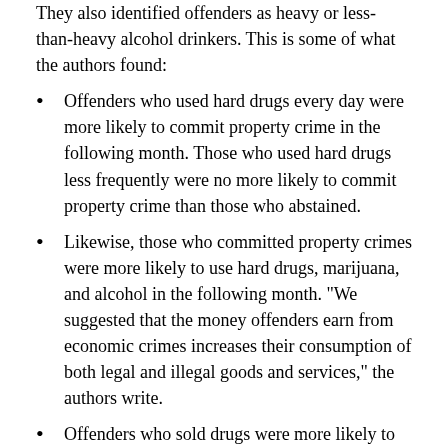They also identified offenders as heavy or less-than-heavy alcohol drinkers. This is some of what the authors found:
Offenders who used hard drugs every day were more likely to commit property crime in the following month. Those who used hard drugs less frequently were no more likely to commit property crime than those who abstained.
Likewise, those who committed property crimes were more likely to use hard drugs, marijuana, and alcohol in the following month. “We suggested that the money offenders earn from economic crimes increases their consumption of both legal and illegal goods and services,” the authors write.
Offenders who sold drugs were more likely to use drugs than those who committed property crime, but they were no more likely to use alcohol.
They do not find explanations for how motives and opportunity drive the cycle. “We think it is reasonable